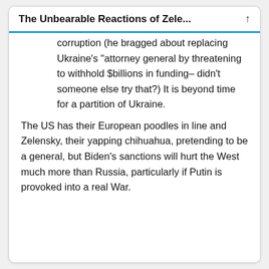The Unbearable Reactions of Zele...
corruption (he bragged about replacing Ukraine's "attorney general by threatening to withhold $billions in funding– didn't someone else try that?) It is beyond time for a partition of Ukraine.
The US has their European poodles in line and Zelensky, their yapping chihuahua, pretending to be a general, but Biden's sanctions will hurt the West much more than Russia, particularly if Putin is provoked into a real War.